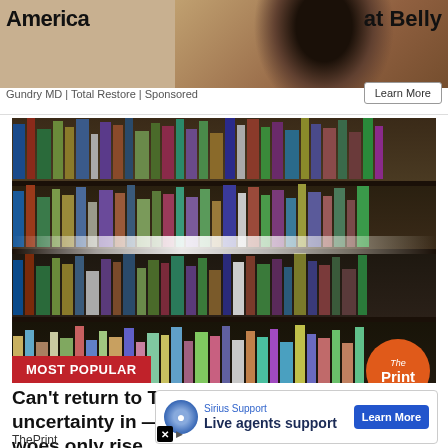[Figure (photo): Top advertisement banner partially cropped — shows a person and text 'America...' and '...at Belly' with a Learn More button. Source: Gundry MD | Total Restore | Sponsored]
[Figure (photo): Main article photo showing a young man in a white t-shirt reaching for books on a library shelf, with a 'MOST POPULAR' red badge at bottom left and 'The Print' orange circle logo at bottom right]
Can't return to Taliban, can't stay in uncertainty in —Afghan students' woes only rise
ThePrint
Advertisement
[Figure (screenshot): Bottom advertisement for Sirius Support — 'Live agents support' with Learn More button in blue]